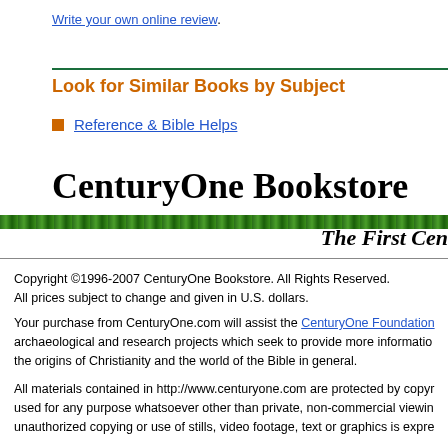Write your own online review.
Look for Similar Books by Subject
Reference & Bible Helps
CenturyOne Bookstore
The First Cen
Copyright ©1996-2007 CenturyOne Bookstore. All Rights Reserved. All prices subject to change and given in U.S. dollars.
Your purchase from CenturyOne.com will assist the CenturyOne Foundation archaeological and research projects which seek to provide more information the origins of Christianity and the world of the Bible in general.
All materials contained in http://www.centuryone.com are protected by copyright used for any purpose whatsoever other than private, non-commercial viewing unauthorized copying or use of stills, video footage, text or graphics is expre